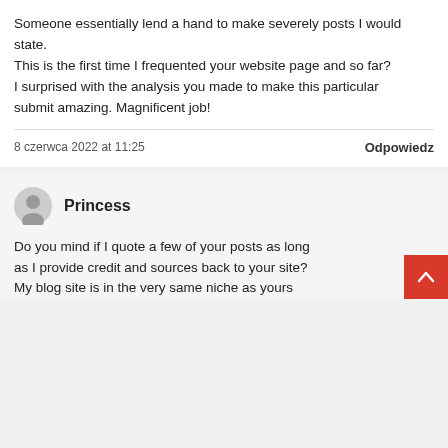Someone essentially lend a hand to make severely posts I would state.
This is the first time I frequented your website page and so far?
I surprised with the analysis you made to make this particular
submit amazing. Magnificent job!
8 czerwca 2022 at 11:25
Odpowiedz
Princess
Do you mind if I quote a few of your posts as long
as I provide credit and sources back to your site?
My blog site is in the very same niche as yours